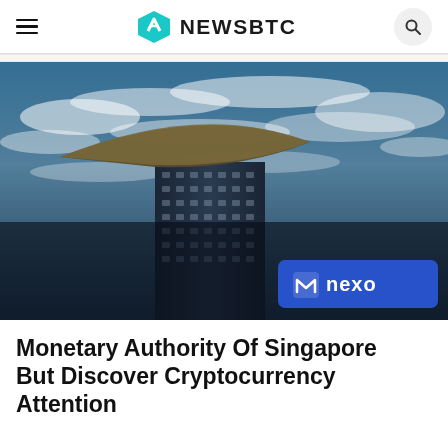NEWSBTC
[Figure (photo): Low-angle view of Marina Bay Sands hotel tower in Singapore against a dramatic blue sky with white clouds. A Nexo advertisement banner appears in the lower right corner of the image.]
Monetary Authority Of Singapore But Discover Cryptocurrency Attention